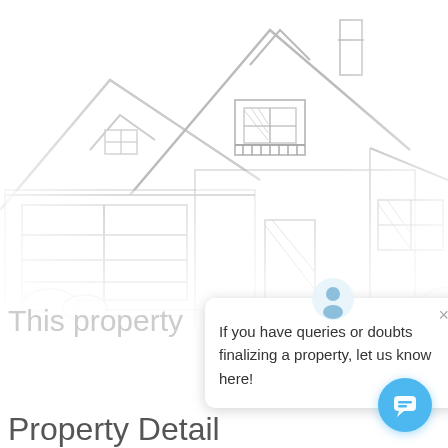[Figure (illustration): Sketch-style line drawing illustration of a house with garage, dormer windows, front door, chimney, and decorative bushes. Blurred/faded edges.]
This property
[Figure (screenshot): Chat popup overlay with user avatar icon, close X button, and message text: 'If you have queries or doubts finalizing a property, let us know here!']
[Figure (infographic): Blue circular chat button with chat bubble icon in bottom right corner.]
Property Detail